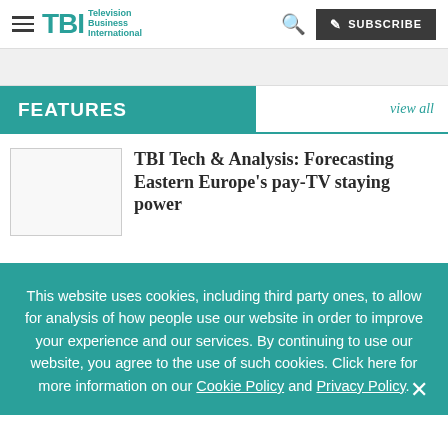TBI Television Business International — SUBSCRIBE
FEATURES
view all
TBI Tech & Analysis: Forecasting Eastern Europe's pay-TV staying power
This website uses cookies, including third party ones, to allow for analysis of how people use our website in order to improve your experience and our services. By continuing to use our website, you agree to the use of such cookies. Click here for more information on our Cookie Policy and Privacy Policy.